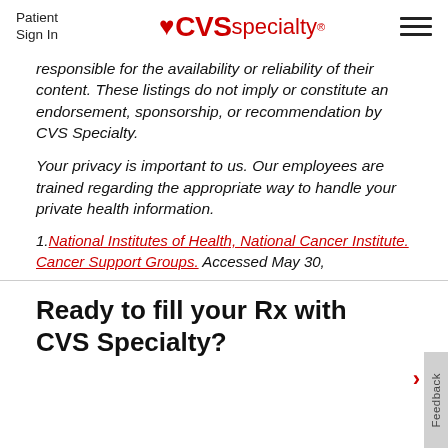Patient Sign In | CVS specialty®
responsible for the availability or reliability of their content. These listings do not imply or constitute an endorsement, sponsorship, or recommendation by CVS Specialty.
Your privacy is important to us. Our employees are trained regarding the appropriate way to handle your private health information.
1. National Institutes of Health, National Cancer Institute. Cancer Support Groups. Accessed May 30.
Ready to fill your Rx with CVS Specialty?